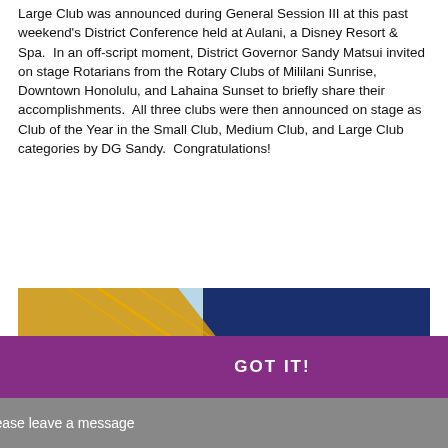Large Club was announced during General Session III at this past weekend's District Conference held at Aulani, a Disney Resort & Spa. In an off-script moment, District Governor Sandy Matsui invited on stage Rotarians from the Rotary Clubs of Mililani Sunrise, Downtown Honolulu, and Lahaina Sunset to briefly share their accomplishments. All three clubs were then announced on stage as Club of the Year in the Small Club, Medium Club, and Large Club categories by DG Sandy. Congratulations!
[Figure (illustration): Hawai'i Rotary banner showing '2021-2022' text on dark blue background with orange geometric design on left side and light blue background]
This website uses cookies to ensure you get the best experience on our website. Learn more
GOT IT!
Please leave a message